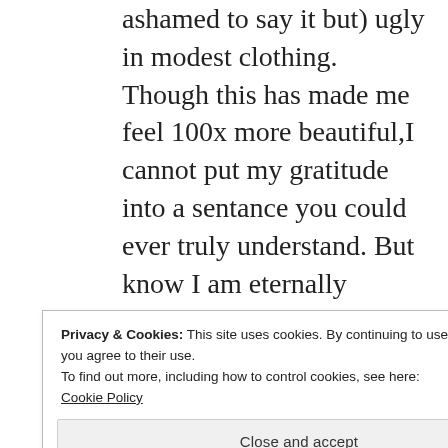ashamed to say it but) ugly in modest clothing. Though this has made me feel 100x more beautiful,I cannot put my gratitude into a sentance you could ever truly understand. But know I am eternally grateful,thank you!
Privacy & Cookies: This site uses cookies. By continuing to use this website, you agree to their use.
To find out more, including how to control cookies, see here:
Cookie Policy
Close and accept
2016 AT 8:38 AM